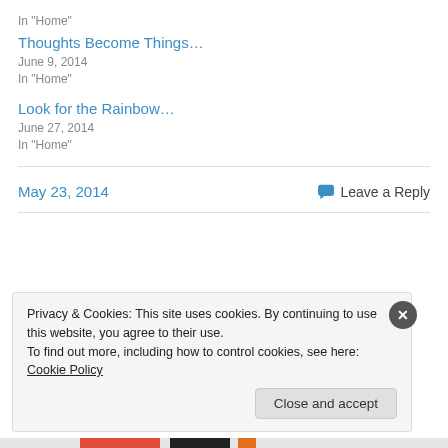In "Home"
Thoughts Become Things…
June 9, 2014
In "Home"
Look for the Rainbow…
June 27, 2014
In "Home"
May 23, 2014
Leave a Reply
Privacy & Cookies: This site uses cookies. By continuing to use this website, you agree to their use.
To find out more, including how to control cookies, see here: Cookie Policy
Close and accept